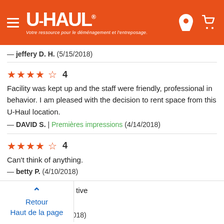[Figure (screenshot): U-Haul website header with orange background, hamburger menu icon, U-HAUL logo with tagline 'Votre ressource pour le déménagement et l'entreposage.', location pin icon and cart icon on the right]
— jeffery D. H.  (5/15/2018)
★★★★☆ 4
Facility was kept up and the staff were friendly, professional in behavior. I am pleased with the decision to rent space from this U-Haul location.
— DAVID S. | Premières impressions (4/14/2018)
★★★★☆ 4
Can't think of anything.
— betty P. (4/10/2018)
Retour
Haut de la page
— Monica S. (1/21/2018)